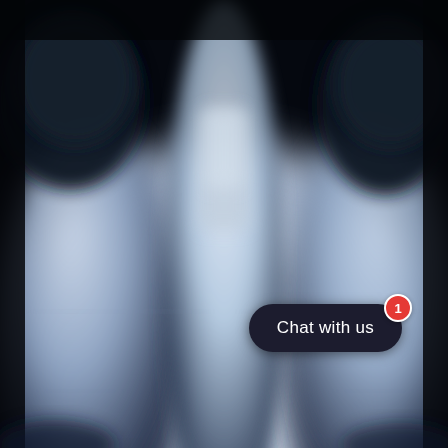[Figure (photo): Close-up blurred photo of laboratory vials or test tubes with dark caps against a black background and white/blue blurred contents, shot from above at an angle]
Chat with us